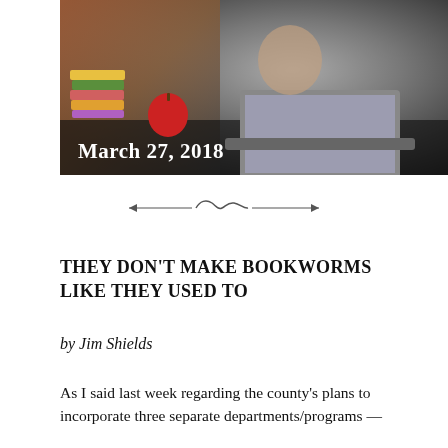[Figure (photo): Photo of a student or young person at a desk with books and a laptop, dated March 27, 2018]
March 27, 2018
THEY DON'T MAKE BOOKWORMS LIKE THEY USED TO
by Jim Shields
As I said last week regarding the county's plans to incorporate three separate departments/programs —